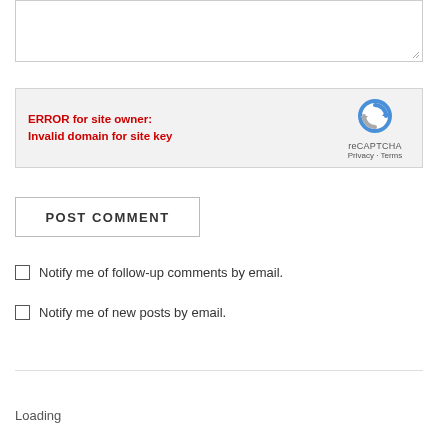[Figure (screenshot): Textarea input box with resize handle in bottom-right corner]
ERROR for site owner: Invalid domain for site key
[Figure (logo): reCAPTCHA logo with shield icon, Privacy and Terms links]
POST COMMENT
Notify me of follow-up comments by email.
Notify me of new posts by email.
Loading